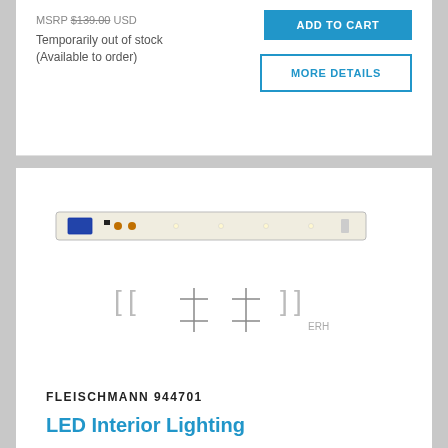MSRP $139.00 USD
Temporarily out of stock
(Available to order)
[Figure (other): LED Interior Lighting product image showing a long thin PCB board with LED components and mounting bracket diagrams below]
FLEISCHMANN 944701
LED Interior Lighting
Scale: N
OUR PRICE
$27.95 USD